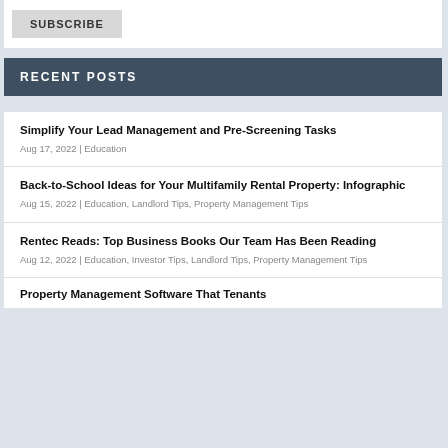SUBSCRIBE
RECENT POSTS
Simplify Your Lead Management and Pre-Screening Tasks
Aug 17, 2022 | Education
Back-to-School Ideas for Your Multifamily Rental Property: Infographic
Aug 15, 2022 | Education, Landlord Tips, Property Management Tips
Rentec Reads: Top Business Books Our Team Has Been Reading
Aug 12, 2022 | Education, Investor Tips, Landlord Tips, Property Management Tips
Property Management Software That Tenants…